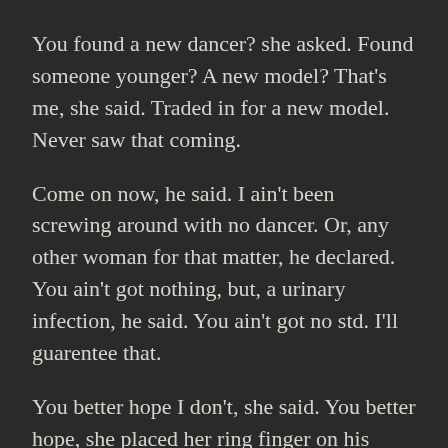You found a new dancer? she asked. Found someone younger? A new model? That's me, she said. Traded in for a new model. Never saw that coming.
Come on now, he said. I ain't been screwing around with no dancer. Or, any other woman for that matter, he declared. You ain't got nothing, but, a urinary infection, he said. You ain't got no std. I'll guarentee that.
You better hope I don't, she said. You better hope, she placed her ring finger on his chest. Where do you go at night? Huh? What are you